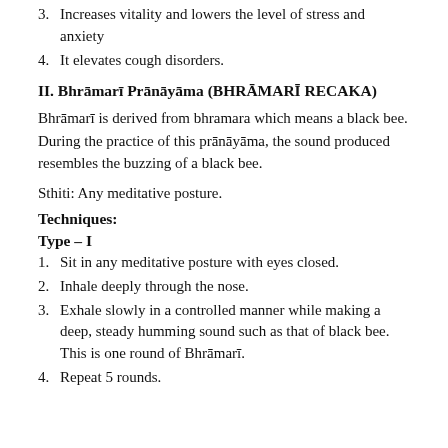3. Increases vitality and lowers the level of stress and anxiety
4. It elevates cough disorders.
II. Bhrāmarī Prānāyāma (BHRĀMARĪ RECAKA)
Bhrāmarī is derived from bhramara which means a black bee. During the practice of this prānāyāma, the sound produced resembles the buzzing of a black bee.
Sthiti: Any meditative posture.
Techniques:
Type – I
1. Sit in any meditative posture with eyes closed.
2. Inhale deeply through the nose.
3. Exhale slowly in a controlled manner while making a deep, steady humming sound such as that of black bee. This is one round of Bhrāmarī.
4. Repeat 5 rounds.